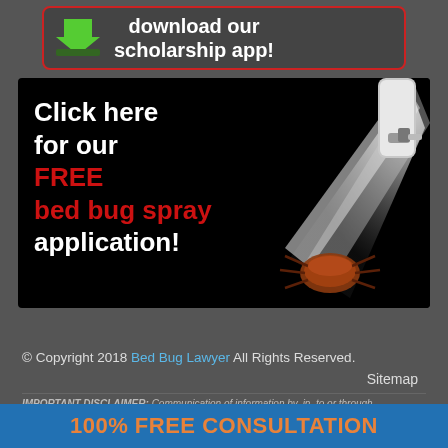[Figure (infographic): Scholarship app download banner with red border, green download arrow icon, and white bold text reading 'download our scholarship app!']
[Figure (infographic): Bed bug spray advertisement on black background. White text: 'Click here for our', red text: 'FREE bed bug spray', white text: 'application!'. Right side shows a spray can emitting a mist toward a bed bug illustration.]
© Copyright 2018 Bed Bug Lawyer All Rights Reserved.
Sitemap
IMPORTANT DISCLAIMER: Communication of information by, in, to or through
100% FREE CONSULTATION